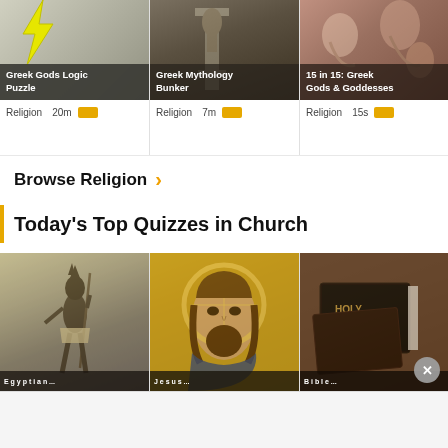[Figure (screenshot): Greek Gods Logic Puzzle card with yellow lightning bolt on grey background and dark overlay title]
Greek Gods Logic Puzzle
Religion  20m
[Figure (screenshot): Greek Mythology Bunker card with dark statue/column background]
Greek Mythology Bunker
Religion  7m
[Figure (screenshot): 15 in 15: Greek Gods & Goddesses card with classical painting background]
15 in 15: Greek Gods & Goddesses
Religion  15s
Browse Religion ›
Today's Top Quizzes in Church
[Figure (photo): Egyptian Anubis god figure standing with staff against sky background]
[Figure (photo): Byzantine mosaic of Jesus Christ with golden halo]
[Figure (photo): Holy Bible book close-up photograph]